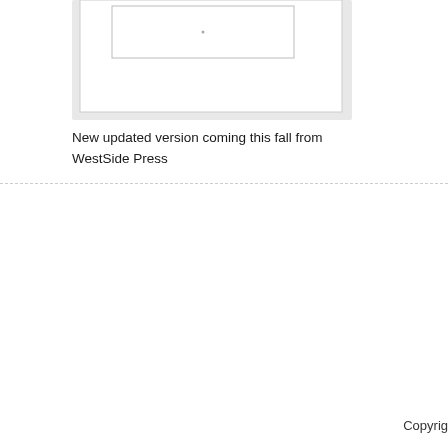[Figure (illustration): A book or document cover image, partially visible at the top of the page. The image shows a white/light colored rectangular frame or book cover with a small mark or text near the center, set against a slightly gray background.]
New updated version coming this fall from WestSide Press
Copyright